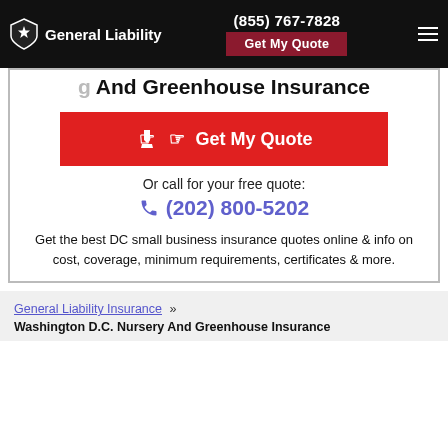General Liability | (855) 767-7828 | Get My Quote
And Greenhouse Insurance
Get My Quote
Or call for your free quote:
(202) 800-5202
Get the best DC small business insurance quotes online & info on cost, coverage, minimum requirements, certificates & more.
General Liability Insurance » Washington D.C. Nursery And Greenhouse Insurance